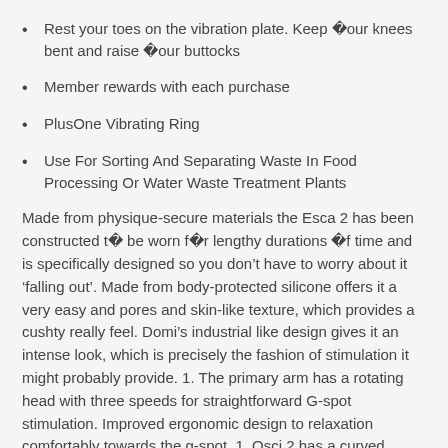Rest your toes on the vibration plate. Keep �our knees bent and raise �our buttocks
Member rewards with each purchase
PlusOne Vibrating Ring
Use For Sorting And Separating Waste In Food Processing Or Water Waste Treatment Plants
Made from physique-secure materials the Esca 2 has been constructed t� be worn f�r lengthy durations �f time and is specifically designed so you don’t have to worry about it ‘falling out’. Made from body-protected silicone offers it a very easy and pores and skin-like texture, which provides a cushty really feel. Domi’s industrial like design gives it an intense look, which is precisely the fashion of stimulation it might probably provide. 1. The primary arm has a rotating head with three speeds for straightforward G-spot stimulation. Improved ergonomic design to relaxation comfortably towards the g-spot. 1. Osci 2 has a curved design for a more snug match. 1. Ergonomic design